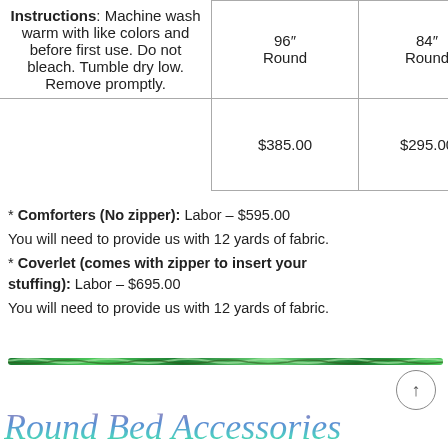| Instructions | 96" Round | 84" Round |
| --- | --- | --- |
| Instructions: Machine wash warm with like colors and before first use. Do not bleach. Tumble dry low. Remove promptly. | 96"
Round | 84"
Round |
|  | $385.00 | $295.00 |
* Comforters (No zipper): Labor – $595.00
You will need to provide us with 12 yards of fabric.
* Coverlet (comes with zipper to insert your stuffing): Labor – $695.00
You will need to provide us with 12 yards of fabric.
[Figure (illustration): Decorative green rope/ribbon divider bar]
Round Bed Accessories